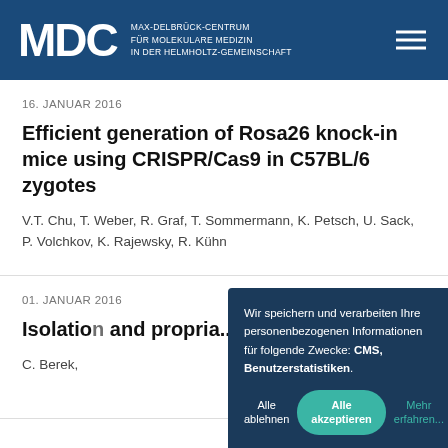[Figure (logo): MDC Max-Delbrück-Centrum für Molekulare Medizin in der Helmholtz-Gemeinschaft logo with hamburger menu icon]
16. JANUAR 2016
Efficient generation of Rosa26 knock-in mice using CRISPR/Cas9 in C57BL/6 zygotes
V.T. Chu, T. Weber, R. Graf, T. Sommermann, K. Petsch, U. Sack, P. Volchkov, K. Rajewsky, R. Kühn
01. JANUAR 2016
Isolation and propria
C. Berek,
Wir speichern und verarbeiten Ihre personenbezogenen Informationen für folgende Zwecke: CMS, Benutzerstatistiken.
Alle ablehnen
Alle akzeptieren
Mehr erfahren...